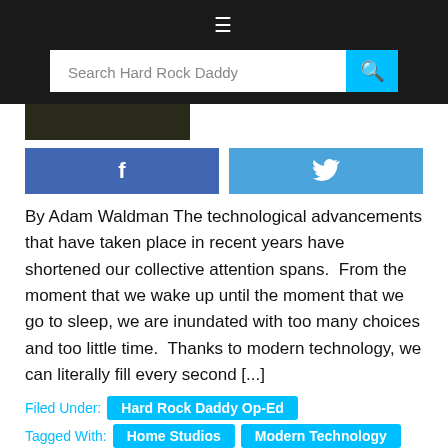≡
Search Hard Rock Daddy
[Figure (photo): Partial thumbnail image of a home studio or music setup, dark tones]
[Figure (infographic): Facebook share button (blue) and Twitter share button (light blue) side by side]
By Adam Waldman The technological advancements that have taken place in recent years have shortened our collective attention spans.  From the moment that we wake up until the moment that we go to sleep, we are inundated with too many choices and too little time.  Thanks to modern technology, we can literally fill every second [...]
Filed Under: Hard Rock Daddy Op-Ed
Tagged With: Home Studios  Modern Technology